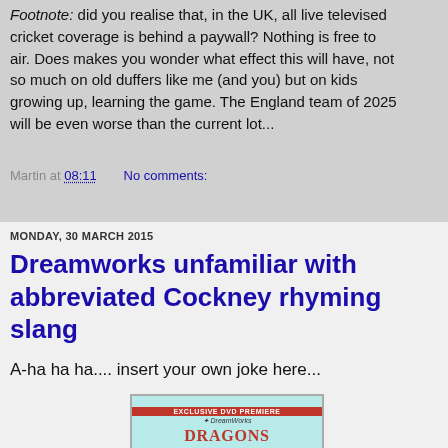Footnote: did you realise that, in the UK, all live televised cricket coverage is behind a paywall? Nothing is free to air. Does makes you wonder what effect this will have, not so much on old duffers like me (and you) but on kids growing up, learning the game. The England team of 2025 will be even worse than the current lot...
Martin at 08:11   No comments:
Share
MONDAY, 30 MARCH 2015
Dreamworks unfamiliar with abbreviated Cockney rhyming slang
A-ha ha ha.... insert your own joke here...
[Figure (photo): DVD cover showing DreamWorks Dragons - Exclusive DVD Premiere]